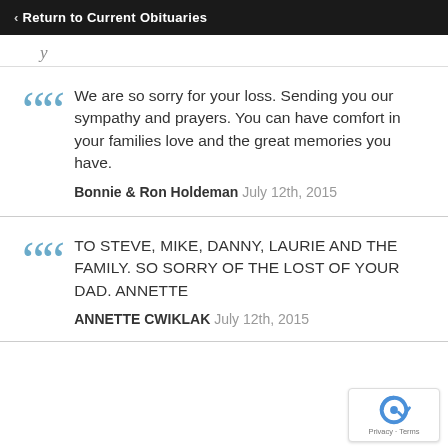< Return to Current Obituaries
We are so sorry for your loss. Sending you our sympathy and prayers. You can have comfort in your families love and the great memories you have.
Bonnie & Ron Holdeman  July 12th, 2015
TO STEVE, MIKE, DANNY, LAURIE AND THE FAMILY. SO SORRY OF THE LOST OF YOUR DAD. ANNETTE
ANNETTE CWIKLAK  July 12th, 2015